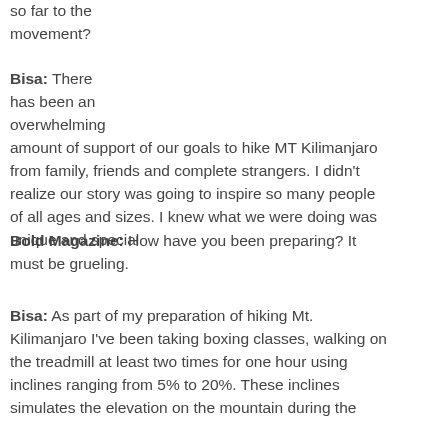so far to the movement?
Bisa: There has been an overwhelming amount of support of our goals to hike MT Kilimanjaro from family, friends and complete strangers. I didn't realize our story was going to inspire so many people of all ages and sizes. I knew what we were doing was unique and special
Bold Magazine: How have you been preparing? It must be grueling.
Bisa: As part of my preparation of hiking Mt. Kilimanjaro I've been taking boxing classes, walking on the treadmill at least two times for one hour using inclines ranging from 5% to 20%. These inclines simulates the elevation on the mountain during the